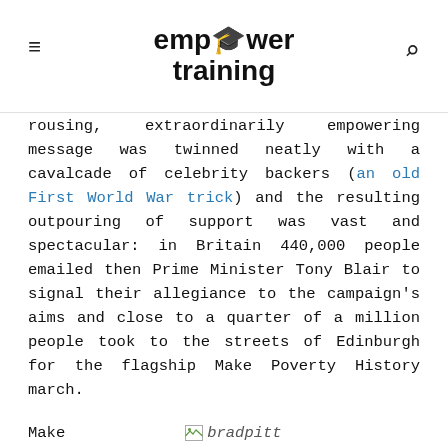empower training
rousing, extraordinarily empowering message was twinned neatly with a cavalcade of celebrity backers (an old First World War trick) and the resulting outpouring of support was vast and spectacular: in Britain 440,000 people emailed then Prime Minister Tony Blair to signal their allegiance to the campaign's aims and close to a quarter of a million people took to the streets of Edinburgh for the flagship Make Poverty History march.
Make  [image: bradpitt]